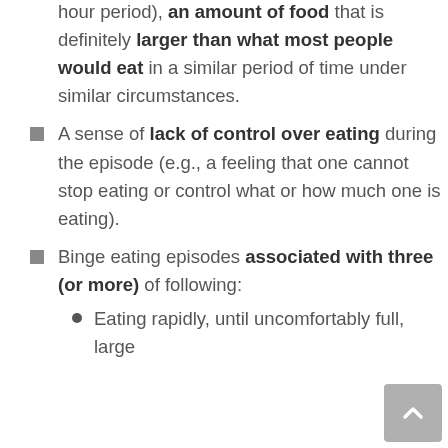an amount of food that is definitely larger than what most people would eat in a similar period of time under similar circumstances.
A sense of lack of control over eating during the episode (e.g., a feeling that one cannot stop eating or control what or how much one is eating).
Binge eating episodes associated with three (or more) of following:
Eating rapidly, until uncomfortably full, large